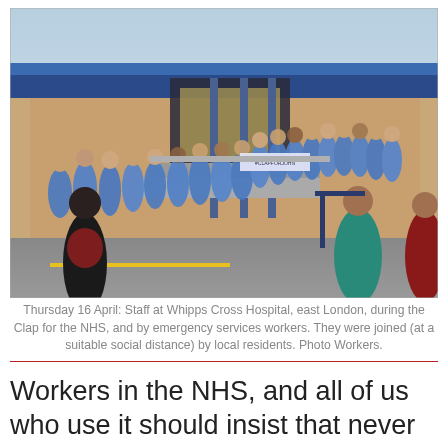[Figure (photo): A large group of NHS staff in blue scrubs clapping outside Whipps Cross Hospital, east London. Two people in dark clothing face them from the foreground. The hospital building with blue trim and brick is visible in the background.]
Thursday 16 April: Staff at Whipps Cross Hospital, east London, during the Clap for the NHS, and by emergency services workers. They were joined (at a suitable social distance) by local residents. Photo Workers.
Workers in the NHS, and all of us who use it should insist that never again can it be allowed to face such an epidemic with such limited